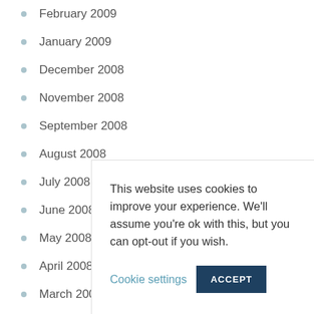February 2009
January 2009
December 2008
November 2008
September 2008
August 2008
July 2008
June 2008
May 2008
April 2008
March 2008
© 2019
This website uses cookies to improve your experience. We'll assume you're ok with this, but you can opt-out if you wish.